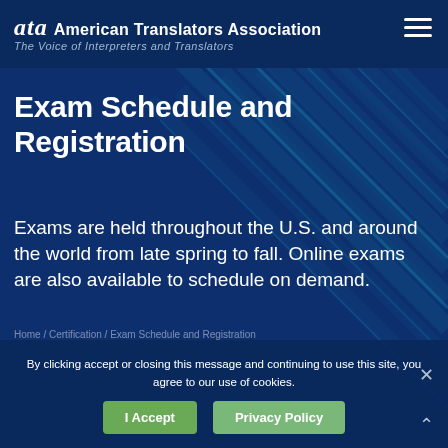ata American Translators Association — The Voice of Interpreters and Translators
[Figure (screenshot): Dark navy blue background with diagonal geometric teal/cyan grid pattern on the right side creating a technical architectural feel]
Exam Schedule and Registration
Exams are held throughout the U.S. and around the world from late spring to fall. Online exams are also available to schedule on demand.
Home / Certification / Exam Schedule and Registration
By clicking accept or closing this message and continuing to use this site, you agree to our use of cookies.